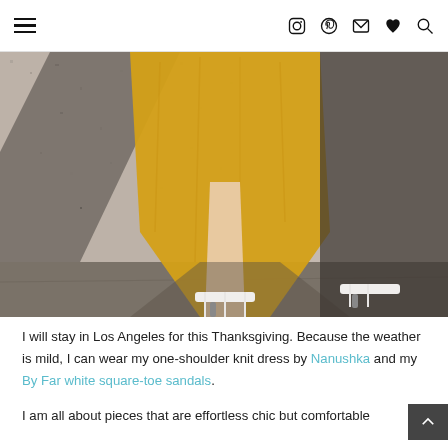Navigation header with hamburger menu and social icons (Instagram, Pinterest, Email, Favorite, Search)
[Figure (photo): Street style photo showing lower half of a person wearing a yellow/mustard knit dress and white square-toe strappy sandals, walking past a granite stone wall with shadow cast on sidewalk]
I will stay in Los Angeles for this Thanksgiving. Because the weather is mild, I can wear my one-shoulder knit dress by Nanushka and my By Far white square-toe sandals.
I am all about pieces that are effortless chic but comfortable